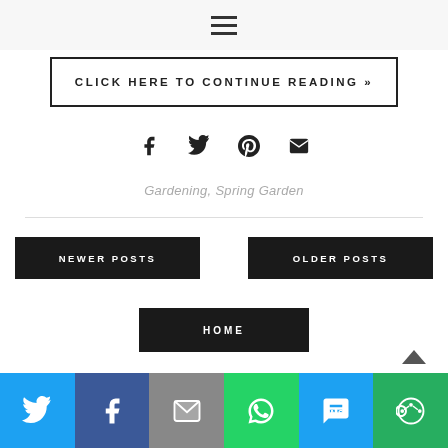[Figure (other): Hamburger menu icon (three horizontal lines)]
CLICK HERE TO CONTINUE READING »
[Figure (other): Social share icons: Facebook, Twitter, Pinterest, Email]
Gardening, Spring Garden
NEWER POSTS
OLDER POSTS
HOME
[Figure (other): Bottom social share bar with Twitter, Facebook, Email, WhatsApp, SMS, More icons]